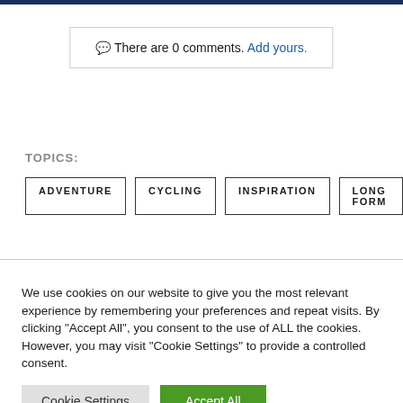💬 There are 0 comments. Add yours.
TOPICS:
ADVENTURE
CYCLING
INSPIRATION
LONG FORM
We use cookies on our website to give you the most relevant experience by remembering your preferences and repeat visits. By clicking "Accept All", you consent to the use of ALL the cookies. However, you may visit "Cookie Settings" to provide a controlled consent.